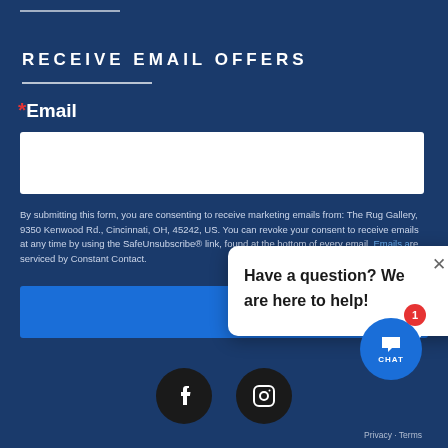RECEIVE EMAIL OFFERS
* Email
By submitting this form, you are consenting to receive marketing emails from: The Rug Gallery, 9350 Kenwood Rd., Cincinnati, OH, 45242, US. You can revoke your consent to receive emails at any time by using the SafeUnsubscribe® link, found at the bottom of every email. Emails a...
[Figure (screenshot): Chat popup overlay with text 'Have a question? We are here to help!' and a close X button]
[Figure (infographic): Social media icons: Facebook and Instagram, circular dark buttons]
[Figure (infographic): Chat button with CHAT label and notification badge showing '1']
Privacy - Terms